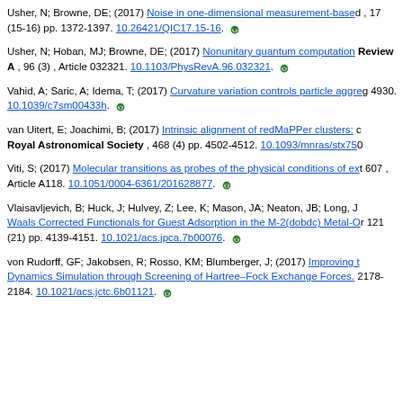Usher, N; Browne, DE; (2017) Noise in one-dimensional measurement-based quantum computation , 17 (15-16) pp. 1372-1397. 10.26421/QIC17.15-16.
Usher, N; Hoban, MJ; Browne, DE; (2017) Nonunitary quantum computation in the ground space of local Hamiltonians. Physical Review A , 96 (3) , Article 032321. 10.1103/PhysRevA.96.032321.
Vahid, A; Saric, A; Idema, T; (2017) Curvature variation controls particle aggregation on fluid vesicles. 4930. 10.1039/c7sm00433h.
van Uitert, E; Joachimi, B; (2017) Intrinsic alignment of redMaPPer clusters: evidence for alignments up to 100 h-1 Mpc. Monthly Notices of the Royal Astronomical Society , 468 (4) pp. 4502-4512. 10.1093/mnras/stx750.
Viti, S; (2017) Molecular transitions as probes of the physical conditions of external galaxies. Astronomy and Astrophysics , 607 , Article A118. 10.1051/0004-6361/201628877.
Vlaisavljevich, B; Huck, J; Hulvey, Z; Lee, K; Mason, JA; Neaton, JB; Long, J; Smit, B; (2017) Performance of van der Waals Corrected Functionals for Guest Adsorption in the M-2(dobdc) Metal-Organic Frameworks. Journal of Physical Chemistry A , 121 (21) pp. 4139-4151. 10.1021/acs.jpca.7b00076.
von Rudorff, GF; Jakobsen, R; Rosso, KM; Blumberger, J; (2017) Improving Fast Electron Transfer Rates in Molecular Dynamics Simulation through Screening of Hartree-Fock Exchange Forces. Journal of Chemical Theory and Computation. 2178-2184. 10.1021/acs.jctc.6b01121.